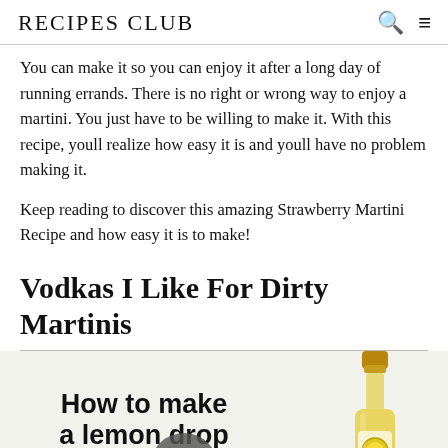RECIPES CLUB
You can make it so you can enjoy it after a long day of running errands. There is no right or wrong way to enjoy a martini. You just have to be willing to make it. With this recipe, youll realize how easy it is and youll have no problem making it.
Keep reading to discover this amazing Strawberry Martini Recipe and how easy it is to make!
Vodkas I Like For Dirty Martinis
[Figure (screenshot): Video thumbnail showing 'How to make a lemon drop martini' text with a play button overlay, a yellow lemon, and a yellow liqueur bottle on the right side.]